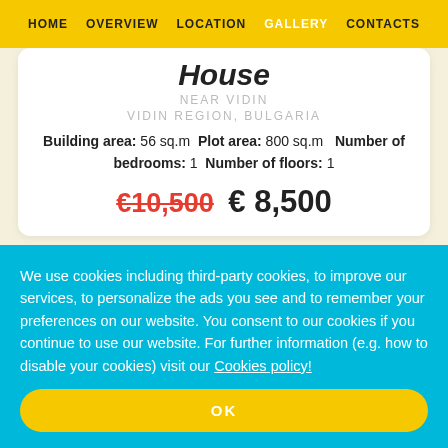HOME  OVERVIEW  LOCATION  GALLERY  CONTACTS
House
NEAR VIDIN
VIDIN REGION, BULGARIA
Building area: 56 sq.m  Plot area: 800 sq.m  Number of bedrooms: 1  Number of floors: 1
€10,500  € 8,500
We use cookies including third-party cookies, to improve our services, to personalize the ads you see and to remember your preferences on our website. You consent to our cookies if you continue to use our website. For further information (e.g. how to disable your cookies) visit our Cookies policy!
OK